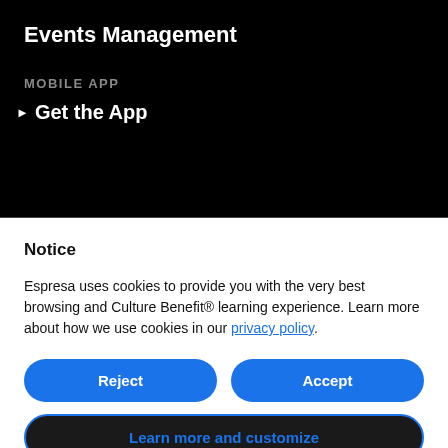Events Management
MOBILE APP
Get the App
Notice
Espresa uses cookies to provide you with the very best browsing and Culture Benefit® learning experience. Learn more about how we use cookies in our privacy policy.
Reject
Accept
Learn more and customize